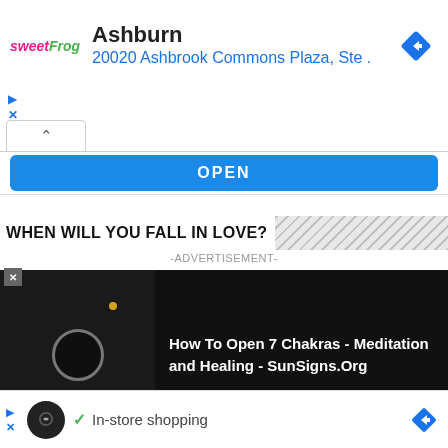[Figure (screenshot): SweetFrog ad banner with logo, Ashburn location text, address, and navigation diamond icon]
Ashburn
20020 Ashbrook Commons Plaza, Ste .
[Figure (screenshot): Collapsed map card UI with chevron-up collapse button]
OPEN
WHEN WILL YOU FALL IN LOVE?
-ADVERTISEMENT-
[Figure (screenshot): Video overlay on black background showing How To Open 7 Chakras - Meditation and Healing - SunSigns.Org with play button circle and gold dot]
How To Open 7 Chakras - Meditation and Healing - SunSigns.Org
[Figure (screenshot): Bottom ad banner with circular logo, checkmark, In-store shopping text, and navigation diamond]
In-store shopping